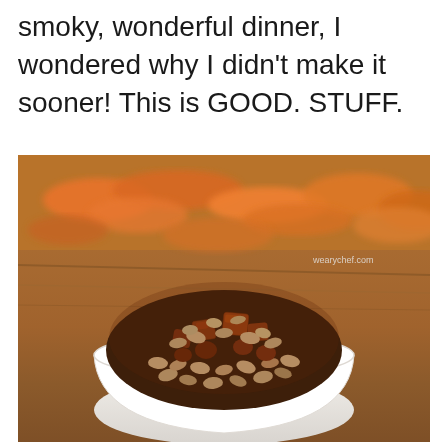smoky, wonderful dinner, I wondered why I didn't make it sooner! This is GOOD. STUFF.
[Figure (photo): A bowl of baked beans with chunks of meat (sausage/pork), in a rich brown sauce, served in a white ceramic bowl. Blurred sweet potato wedges visible in the background on a wooden surface. Watermark reads 'wearychef.com'.]